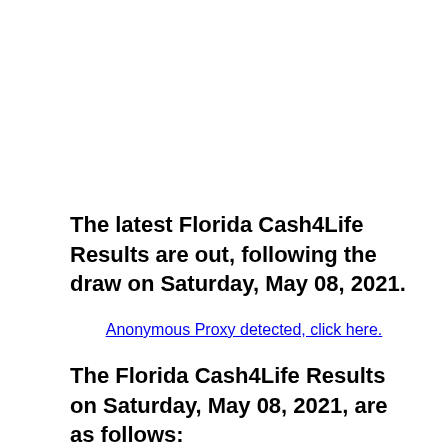The latest Florida Cash4Life Results are out, following the draw on Saturday, May 08, 2021.
Anonymous Proxy detected, click here.
The Florida Cash4Life Results on Saturday, May 08, 2021, are as follows: